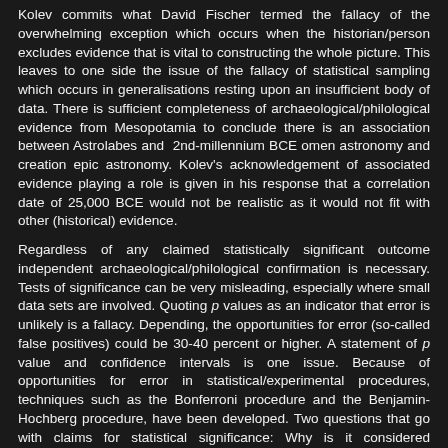Kolev commits what David Fischer termed the fallacy of the overwhelming exception which occurs when the historian/person excludes evidence that is vital to constructing the whole picture. This leaves to one side the issue of the fallacy of statistical sampling which occurs in generalisations resting upon an insufficient body of data. There is sufficient completeness of archaeological/philological evidence from Mesopotamia to conclude there is an association between Astrolabes and 2nd-millennium BCE omen astronomy and creation epic astronomy. Kolev's acknowledgement of associated evidence playing a role is given in his response that a correlation date of 25,000 BCE would not be realistic as it would not fit with other (historical) evidence.
Regardless of any claimed statistically significant outcome independent archaeological/philological confirmation is necessary. Tests of significance can be very misleading, especially where small data sets are involved. Quoting p values as an indicator that error is unlikely is a fallacy. Depending, the opportunities for error (so-called false positives) could be 30-40 percent or higher. A statement of p value and confidence intervals is one issue. Because of opportunities for error in statistical/experimental procedures, techniques such as the Bonferroni procedure and the Benjamin-Hochberg procedure, have been developed. Two questions that go with claims for statistical significance: Why is it considered statistically significant? What is the chance of getting statistically significant results? The significance test and its result should